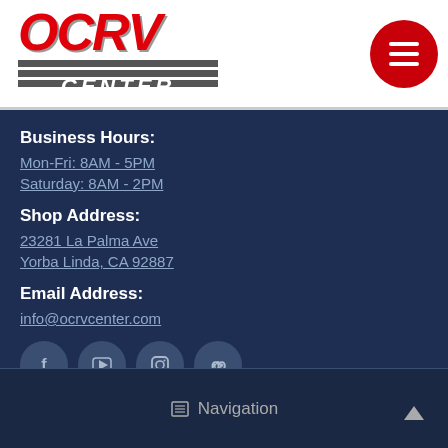[Figure (logo): OCRV Center logo with red lettering and horizontal stripe lines with CENTER text]
Business Hours:
Mon-Fri: 8AM - 5PM
Saturday: 8AM - 2PM
Shop Address:
23281 La Palma Ave
Yorba Linda, CA 92887
Email Address:
info@ocrvcenter.com
[Figure (illustration): Social media icons: Facebook, YouTube, Instagram, Yelp]
Navigation